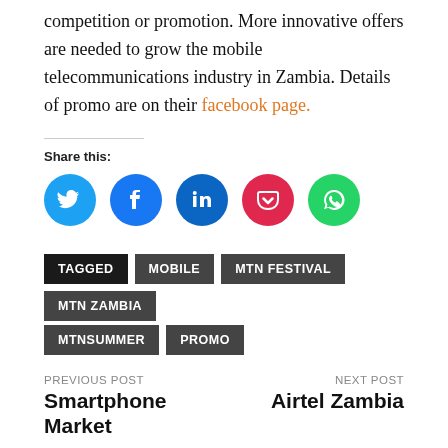competition or promotion. More innovative offers are needed to grow the mobile telecommunications industry in Zambia. Details of promo are on their facebook page.
Share this:
[Figure (infographic): Row of five social sharing icon circles: Twitter (blue), Facebook (blue), LinkedIn (dark blue), Pocket (red), WhatsApp (green)]
TAGGED
MOBILE
MTN FESTIVAL
MTN ZAMBIA
MTNSUMMER
PROMO
PREVIOUS POST
Smartphone Market
NEXT POST
Airtel Zambia